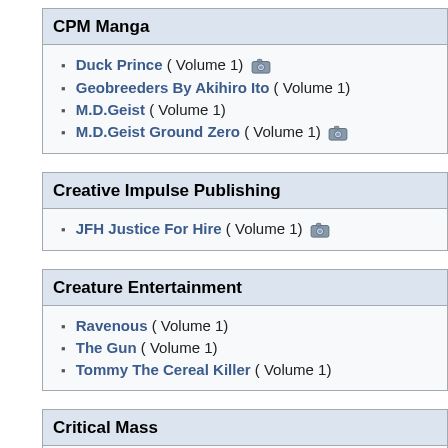CPM Manga
Duck Prince ( Volume 1)
Geobreeders By Akihiro Ito ( Volume 1)
M.D.Geist ( Volume 1)
M.D.Geist Ground Zero ( Volume 1)
Creative Impulse Publishing
JFH Justice For Hire ( Volume 1)
Creature Entertainment
Ravenous ( Volume 1)
The Gun ( Volume 1)
Tommy The Cereal Killer ( Volume 1)
Critical Mass
Age Of Insects ( Volume 1)
Crossgen